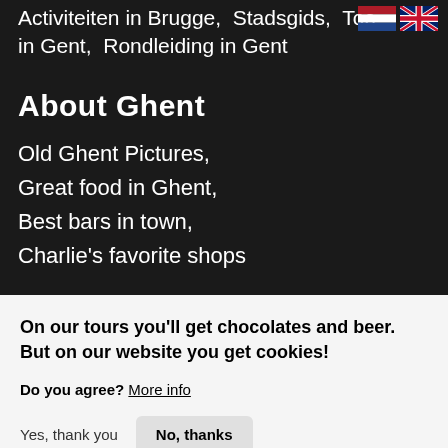Activiteiten in Brugge, Stadsgids, Tour in Gent, Rondleiding in Gent
About Ghent
Old Ghent Pictures,
Great food in Ghent,
Best bars in town,
Charlie's favorite shops
On our tours you'll get chocolates and beer. But on our website you get cookies!
Do you agree? More info
Yes, thank you   No, thanks